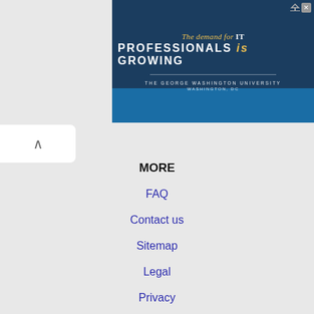[Figure (screenshot): Advertisement banner for The George Washington University promoting IT professionals program. Dark navy background with text: 'The demand for IT PROFESSIONALS is GROWING' and a lighter blue band at the bottom reading 'THE GEORGE WASHINGTON UNIVERSITY WASHINGTON, DC']
MORE
FAQ
Contact us
Sitemap
Legal
Privacy
NEARBY CITIES
Arlington, MA Jobs
Attleboro, MA Jobs
Barnstable Town, MA Jobs
Boston, MA Jobs